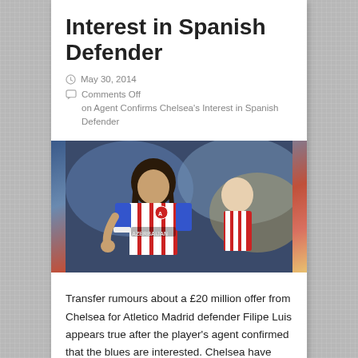Interest in Spanish Defender
May 30, 2014
Comments Off on Agent Confirms Chelsea’s Interest in Spanish Defender
[Figure (photo): Atletico Madrid player Filipe Luis in red and white striped jersey with AZERBAIJAN sponsor, celebrating, with teammate in background]
Transfer rumours about a £20 million offer from Chelsea for Atletico Madrid defender Filipe Luis appears true after the player’s agent confirmed that the blues are interested. Chelsea have been linked with a stunning swoop for Filipe Luis, who has a £20 million release clause ...